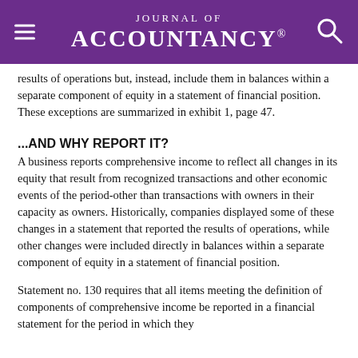Journal of Accountancy
results of operations but, instead, include them in balances within a separate component of equity in a statement of financial position. These exceptions are summarized in exhibit 1, page 47.
...AND WHY REPORT IT?
A business reports comprehensive income to reflect all changes in its equity that result from recognized transactions and other economic events of the period-other than transactions with owners in their capacity as owners. Historically, companies displayed some of these changes in a statement that reported the results of operations, while other changes were included directly in balances within a separate component of equity in a statement of financial position.
Statement no. 130 requires that all items meeting the definition of components of comprehensive income be reported in a financial statement for the period in which they